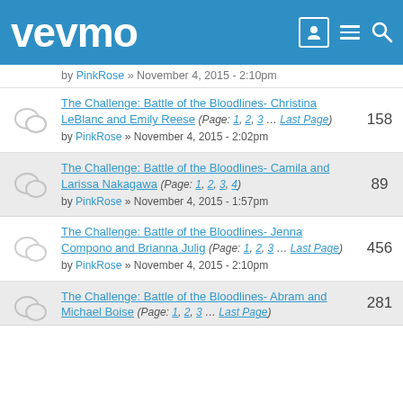vevmo
The Challenge: Battle of the Bloodlines- Christina LeBlanc and Emily Reese (Page: 1, 2, 3 ... Last Page) by PinkRose » November 4, 2015 - 2:02pm | 158
The Challenge: Battle of the Bloodlines- Camila and Larissa Nakagawa (Page: 1, 2, 3, 4) by PinkRose » November 4, 2015 - 1:57pm | 89
The Challenge: Battle of the Bloodlines- Jenna Compono and Brianna Julig (Page: 1, 2, 3 ... Last Page) by PinkRose » November 4, 2015 - 2:10pm | 456
The Challenge: Battle of the Bloodlines- Abram and Michael Boise (Page: 1, 2, 3 ... Last Page) | 281